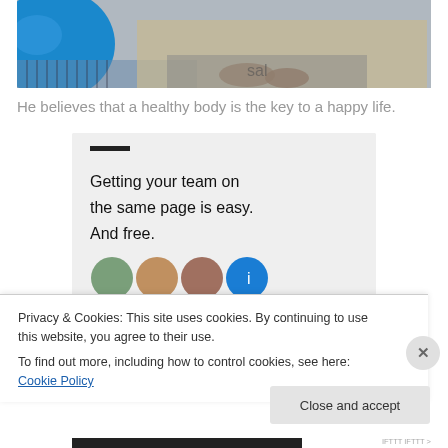[Figure (photo): Photo of a dog near a blue exercise/yoga ball on a wooden floor surface. The blue ball is on the left side and the dog's paws are visible on a mat or book on the floor.]
He believes that a healthy body is the key to a happy life.
[Figure (screenshot): A promotional widget with a dark horizontal line above bold text reading: Getting your team on the same page is easy. And free. Below are circular avatar photos of team members including three person photos and one blue circle with an icon.]
Privacy & Cookies: This site uses cookies. By continuing to use this website, you agree to their use.
To find out more, including how to control cookies, see here: Cookie Policy